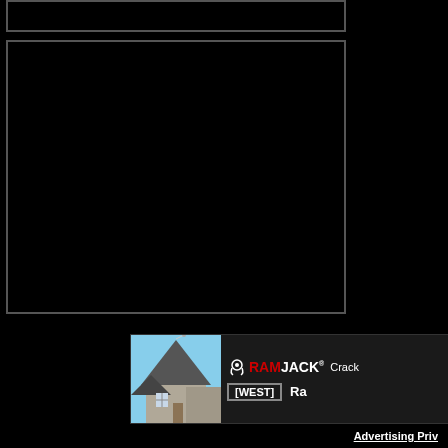[Figure (screenshot): Black bordered box at top, partially cropped]
[Figure (screenshot): Large black bordered rectangle, appears to be a video or content player area]
[Figure (screenshot): Advertisement banner for Ram Jack West showing a house photo with the RamJack West logo and text 'Crack' and 'Ra']
Advertising Priv